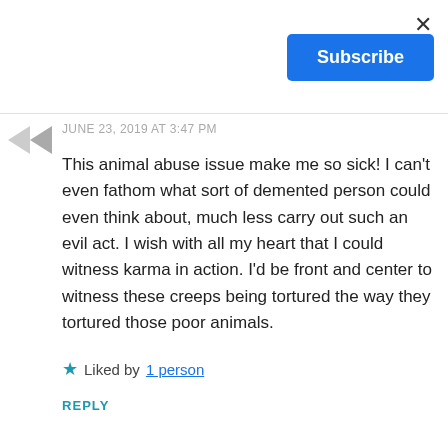×
Subscribe
[Figure (illustration): Gray avatar icon with left-pointing chevron/triangle shapes]
JUNE 23, 2019 AT 3:47 PM
This animal abuse issue make me so sick! I can't even fathom what sort of demented person could even think about, much less carry out such an evil act. I wish with all my heart that I could witness karma in action. I'd be front and center to witness these creeps being tortured the way they tortured those poor animals.
Liked by 1 person
REPLY